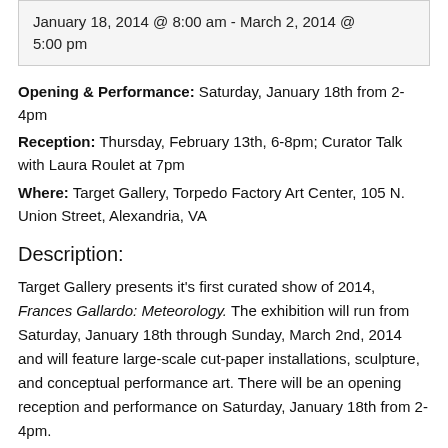January 18, 2014 @ 8:00 am - March 2, 2014 @ 5:00 pm
Opening & Performance: Saturday, January 18th from 2-4pm
Reception: Thursday, February 13th, 6-8pm; Curator Talk with Laura Roulet at 7pm
Where: Target Gallery, Torpedo Factory Art Center, 105 N. Union Street, Alexandria, VA
Description:
Target Gallery presents it's first curated show of 2014, Frances Gallardo: Meteorology. The exhibition will run from Saturday, January 18th through Sunday, March 2nd, 2014 and will feature large-scale cut-paper installations, sculpture, and conceptual performance art. There will be an opening reception and performance on Saturday, January 18th from 2-4pm.